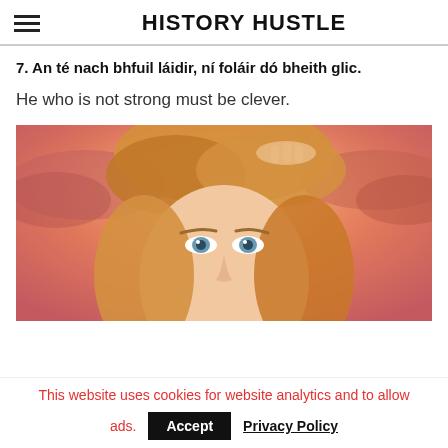HISTORY HUSTLE
7. An té nach bhfuil láidir, ní foláir dó bheith glic.
He who is not strong must be clever.
[Figure (illustration): Illustrated/painted image of a woman with blonde hair against a dramatic orange and pink sky background, her hand raised to her head, eyes visible.]
This website uses cookies for website analytics and to allow ads. Accept Privacy Policy